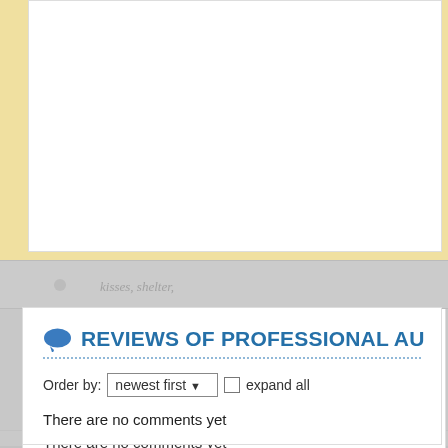[Figure (screenshot): Top partial section with cream/beige background and white content area, partially cut off at top of page]
REVIEWS OF PROFESSIONAL AU
Order by: newest first  expand all
There are no comments yet
RELATED TOPICS